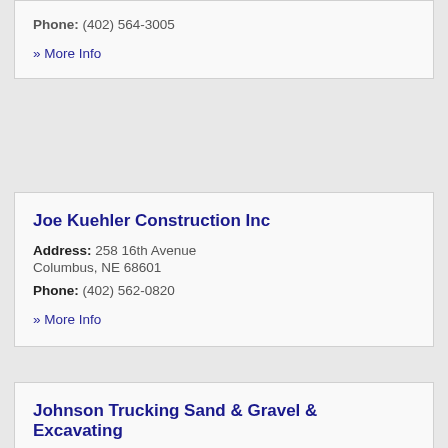Phone: (402) 564-3005
» More Info
Joe Kuehler Construction Inc
Address: 258 16th Avenue Columbus, NE 68601
Phone: (402) 562-0820
» More Info
Johnson Trucking Sand & Gravel & Excavating
Address: 3163 S 16th Street Columbus, NE 68601
Phone: (402) 564-7834